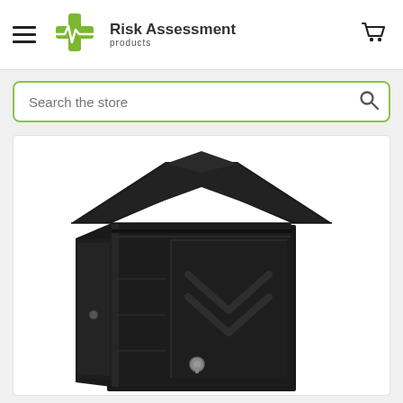[Figure (screenshot): E-commerce website header with hamburger menu, Risk Assessment Products logo with green cross, and shopping cart icon]
[Figure (screenshot): Search bar with 'Search the store' placeholder text and magnifying glass icon, with green border]
[Figure (photo): Black medicine/security cabinet with a peaked decorative top lid and an open front door revealing interior shelves, with a key lock visible at the bottom]